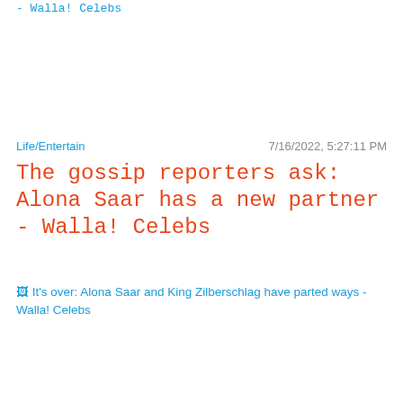- Walla! Celebs
Life/Entertain
7/16/2022, 5:27:11 PM
The gossip reporters ask: Alona Saar has a new partner - Walla! Celebs
[Figure (other): Broken image placeholder with alt text: It's over: Alona Saar and King Zilberschlag have parted ways - Walla! Celebs]